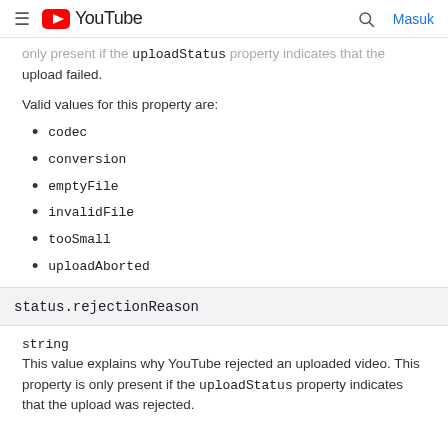≡ YouTube  🔍 Masuk
only present if the uploadStatus property indicates that the upload failed.
Valid values for this property are:
codec
conversion
emptyFile
invalidFile
tooSmall
uploadAborted
status.rejectionReason
string
This value explains why YouTube rejected an uploaded video. This property is only present if the uploadStatus property indicates that the upload was rejected.